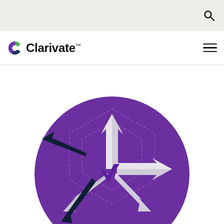[Figure (logo): Clarivate logo with stylized C icon in purple and green, followed by bold text 'Clarivate' with trademark symbol]
[Figure (illustration): Purple circle containing a 3D white cross/arrow shape pointing in multiple directions with dark navy arrows also radiating outward, and dashed hexagonal border lines suggesting network or connection expansion concept]